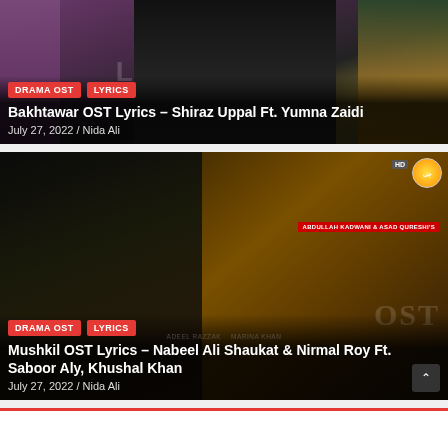[Figure (photo): Drama thumbnail image for Bakhtawar OST with cast members in colorful attire against dark background with Urdu title text overlay]
DRAMA OST  LYRICS
Bakhtawar OST Lyrics – Shiraz Uppal Ft. Yumna Zaidi
July 27, 2022 / Nida Ali
[Figure (photo): Drama thumbnail for Mushkil OST showing three actors looking distressed against dark golden background with Urdu title Mushkil and Geo TV logo]
DRAMA OST  LYRICS
Mushkil OST Lyrics – Nabeel Ali Shaukat & Nirmal Roy Ft. Saboor Aly, Khushal Khan
July 27, 2022 / Nida Ali